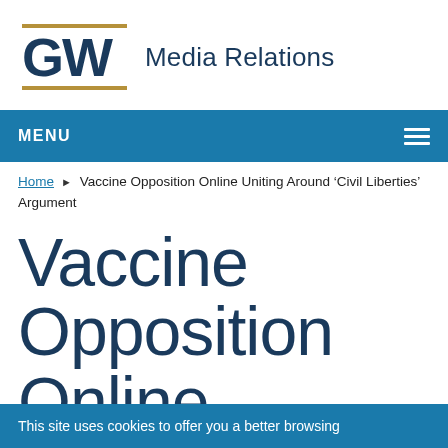[Figure (logo): GW (George Washington University) logo with gold horizontal lines above and below the GW letters]
Media Relations
MENU
Home ▶ Vaccine Opposition Online Uniting Around 'Civil Liberties' Argument
Vaccine Opposition Online Uniting
This site uses cookies to offer you a better browsing